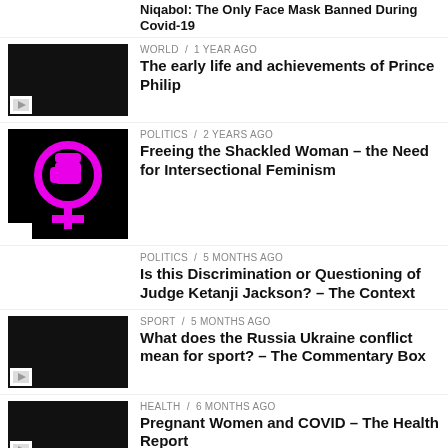Niqabol: The Only Face Mask Banned During Covid-19
WORLD / 1 year ago — The early life and achievements of Prince Philip
POLITICS / 2 years ago — Freeing the Shackled Woman – the Need for Intersectional Feminism
POLITICS / 5 months ago — Is this Discrimination or Questioning of Judge Ketanji Jackson? – The Context
SPORT / 5 months ago — What does the Russia Ukraine conflict mean for sport? – The Commentary Box
HEALTH / 6 months ago — Pregnant Women and COVID – The Health Report
HEALTH / 6 months ago — What's next after Omicron? – The Health Report
HEALTH / 6 months ago — Realities about the COVID Vaccine – The Health Report